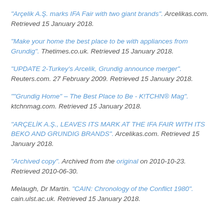"Arçelik A.Ş. marks IFA Fair with two giant brands". Arcelikas.com. Retrieved 15 January 2018.
"Make your home the best place to be with appliances from Grundig". Thetimes.co.uk. Retrieved 15 January 2018.
"UPDATE 2-Turkey's Arcelik, Grundig announce merger". Reuters.com. 27 February 2009. Retrieved 15 January 2018.
""Grundig Home" – The Best Place to Be - K!TCHN® Mag". ktchnmag.com. Retrieved 15 January 2018.
"ARÇELİK A.Ş., LEAVES ITS MARK AT THE IFA FAIR WITH ITS BEKO AND GRUNDIG BRANDS". Arcelikas.com. Retrieved 15 January 2018.
"Archived copy". Archived from the original on 2010-10-23. Retrieved 2010-06-30.
Melaugh, Dr Martin. "CAIN: Chronology of the Conflict 1980". cain.ulst.ac.uk. Retrieved 15 January 2018.